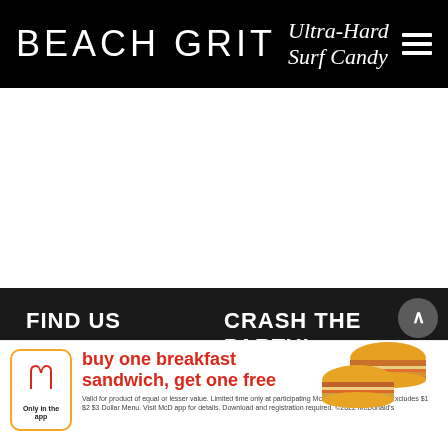BEACH GRIT Ultra-Hard Surf Candy
FIND US
CRASH THE PARTY!
CONTACT US
FACEBOOK
MEET THE WRITERS
INSTAGRAM
[Figure (other): McDonald's advertisement banner: buy one breakfast sandwich, get one free. Only in the app. Valid for product of equal or lesser value. Limited time only at participating McDonald's. Valid today. Excludes $1 $2 $3 Dollar Menu. Visit McD app for details. Download and registration required. ©2022 McDonald's]